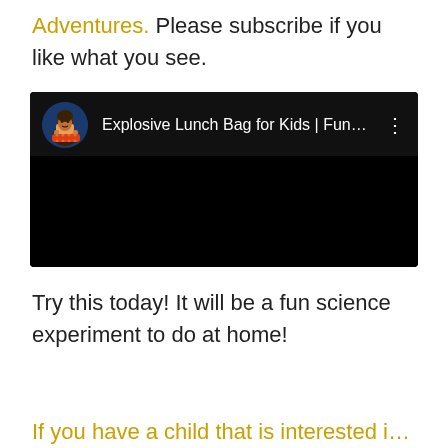Adventures. Please subscribe if you like what you see.
[Figure (screenshot): Embedded YouTube video thumbnail showing 'Explosive Lunch Bag for Kids | Fun...' with a circular avatar of a child on a black background and three-dot menu icon]
Try this today! It will be a fun science experiment to do at home!
If you have a child that is interested in science, you should...